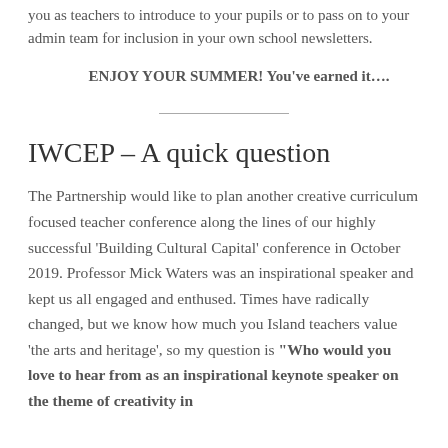you as teachers to introduce to your pupils or to pass on to your admin team for inclusion in your own school newsletters.
ENJOY YOUR SUMMER! You've earned it….
IWCEP – A quick question
The Partnership would like to plan another creative curriculum focused teacher conference along the lines of our highly successful 'Building Cultural Capital' conference in October 2019. Professor Mick Waters was an inspirational speaker and kept us all engaged and enthused. Times have radically changed, but we know how much you Island teachers value 'the arts and heritage', so my question is "Who would you love to hear from as an inspirational keynote speaker on the theme of creativity in